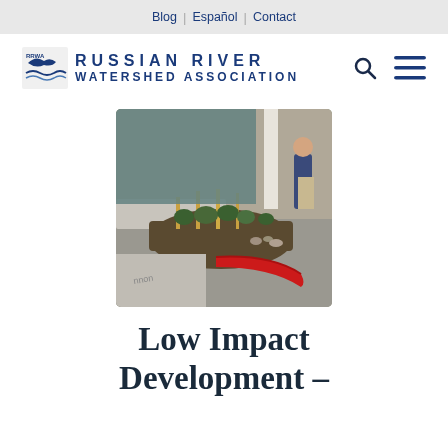Blog | Español | Contact
[Figure (logo): Russian River Watershed Association logo with bird/water icon and text RUSSIAN RIVER WATERSHED ASSOCIATION in blue, with search and menu icons on right]
[Figure (photo): A street-level bioretention planter/rain garden with plants, rocks, and a red curved curb barrier in a parking lot or sidewalk area. A person stands in the background.]
Low Impact Development –